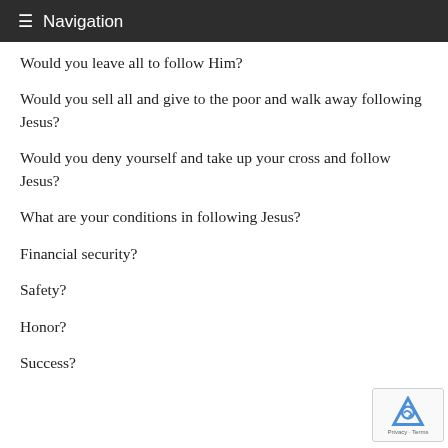Navigation
Would you leave all to follow Him?
Would you sell all and give to the poor and walk away following Jesus?
Would you deny yourself and take up your cross and follow Jesus?
What are your conditions in following Jesus?
Financial security?
Safety?
Honor?
Success?